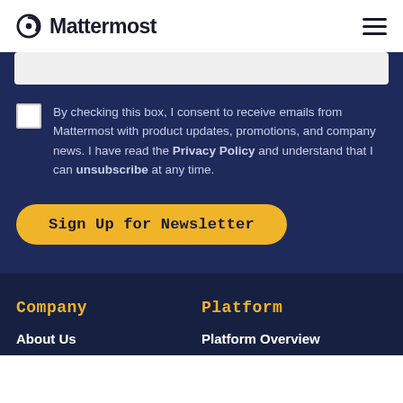Mattermost
By checking this box, I consent to receive emails from Mattermost with product updates, promotions, and company news. I have read the Privacy Policy and understand that I can unsubscribe at any time.
Sign Up for Newsletter
Company
Platform
About Us
Platform Overview